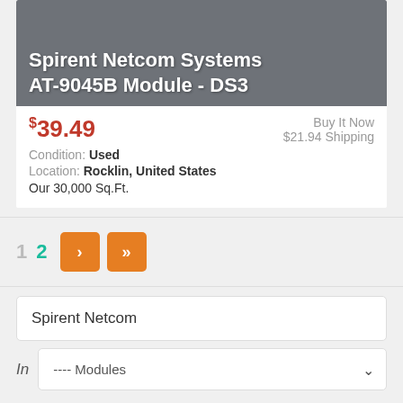[Figure (photo): Product image of Spirent Netcom Systems AT-9045B Module - DS3 with gray background]
$39.49
Buy It Now
$21.94 Shipping
Condition: Used
Location: Rocklin, United States
Our 30,000 Sq.Ft.
1  2  ›  »
Spirent Netcom
In  ---- Modules
Former Listings
Spirent Netcom SmarBits ML-7710